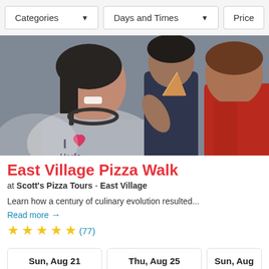Categories ▾   Days and Times ▾   Price
[Figure (photo): Two people eating pizza outdoors; a woman in a gray 'I ❤ Harlem' t-shirt with a headset around her neck is laughing, and a man in a red shirt is eating pizza with his back to the camera.]
East Village Pizza Walk
at Scott's Pizza Tours - East Village
Learn how a century of culinary evolution resulted...
Read more →
★★★★★ (77)
Sun, Aug 21
Thu, Aug 25
Sun, Aug